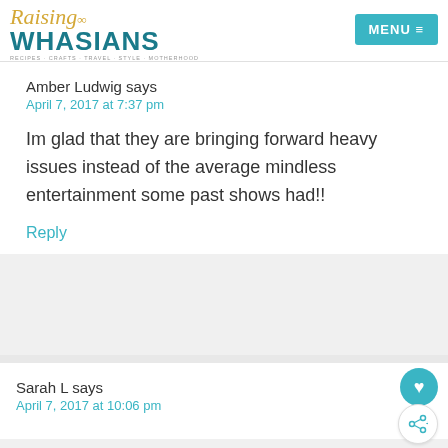Raising Whasians | MENU
Amber Ludwig says
April 7, 2017 at 7:37 pm
Im glad that they are bringing forward heavy issues instead of the average mindless entertainment some past shows had!!
Reply
Sarah L says
April 7, 2017 at 10:06 pm